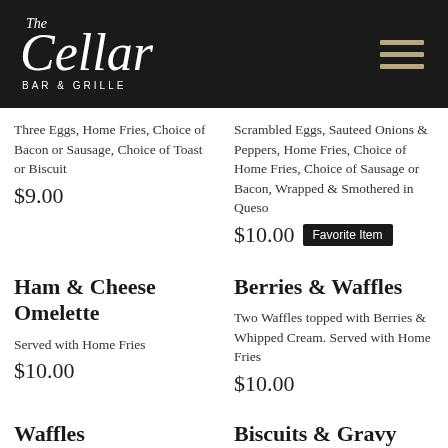[Figure (logo): The Cellar Bar & Grille logo on black header with hamburger menu icon]
Three Eggs, Home Fries, Choice of Bacon or Sausage, Choice of Toast or Biscuit
$9.00
Scrambled Eggs, Sauteed Onions & Peppers, Home Fries, Choice of Home Fries, Choice of Sausage or Bacon, Wrapped & Smothered in Queso
$10.00  Favorite Item
Ham & Cheese Omelette
Served with Home Fries
$10.00
Berries & Waffles
Two Waffles topped with Berries & Whipped Cream. Served with Home Fries
$10.00
Waffles
Two Waffles Served with Syrup. Served with Home
Biscuits & Gravy
Biscuits Covered in Sausage Gravy. Served with Home